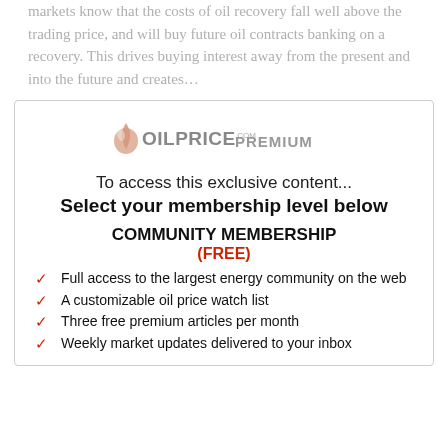markets know that the costs of oil recovery fall well above the trading price, and will buy future oil contracts banking on a recovery. This drives buying interest away from the present and into the future and creates…
[Figure (logo): OilPrice.com Premium logo with a teardrop/oil drop icon in salmon/rose color and text OILPRICE.COM PREMIUM]
To access this exclusive content...
Select your membership level below
COMMUNITY MEMBERSHIP
(FREE)
Full access to the largest energy community on the web
A customizable oil price watch list
Three free premium articles per month
Weekly market updates delivered to your inbox